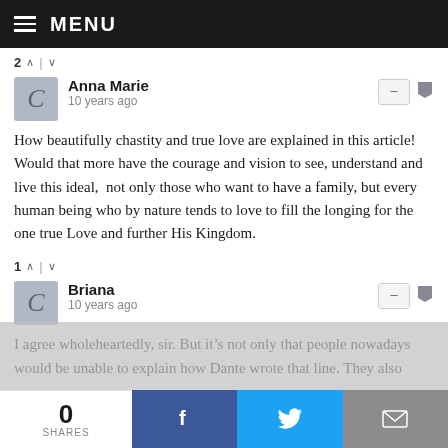MENU
2 ∧ | ∨
Anna Marie
10 years ago
How beautifully chastity and true love are explained in this article!  Would that more have the courage and vision to see, understand and live this ideal,  not only those who want to have a family, but every human being who by nature tends to love to fill the longing for the one true Love and further His Kingdom.
1 ∧ | ∨
Briana
10 years ago
I agree wholeheartedly, sir. But it's not only that people nowadays would be unable to explain how Dante wrote that line. They also
0 SHARES | Facebook | Twitter | Email